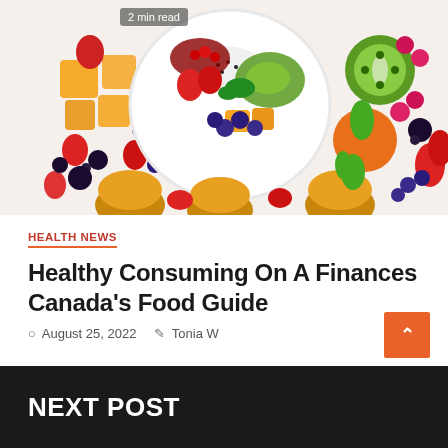[Figure (photo): Overhead view of a colorful fruit bowl with berries, kiwi, mango, strawberries, blueberries and muffins on a white background. Badge reading '2 min read' in top area.]
HEALTH NEWS
Healthy Consuming On A Finances Canada's Food Guide
August 25, 2022   Tonia W
NEXT POST